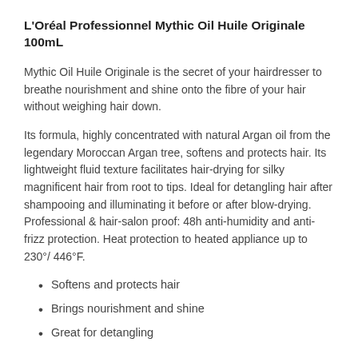L'Oréal Professionnel Mythic Oil Huile Originale 100mL
Mythic Oil Huile Originale is the secret of your hairdresser to breathe nourishment and shine onto the fibre of your hair without weighing hair down.
Its formula, highly concentrated with natural Argan oil from the legendary Moroccan Argan tree, softens and protects hair. Its lightweight fluid texture facilitates hair-drying for silky magnificent hair from root to tips. Ideal for detangling hair after shampooing and illuminating it before or after blow-drying. Professional & hair-salon proof: 48h anti-humidity and anti-frizz protection. Heat protection to heated appliance up to 230°/ 446°F.
Softens and protects hair
Brings nourishment and shine
Great for detangling